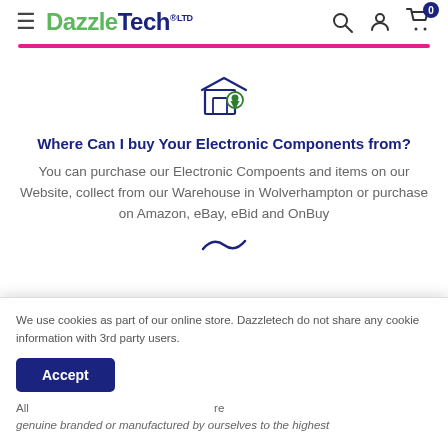DazzleTech ltd — navigation header with hamburger menu, logo, search, account, and cart icons
[Figure (illustration): Store/shop icon with a location pin — outline style in dark navy/green]
Where Can I buy Your Electronic Components from?
You can purchase our Electronic Compoents and items on our Website, collect from our Warehouse in Wolverhampton or purchase on Amazon, eBay, eBid and OnBuy
We use cookies as part of our online store. Dazzletech do not share any cookie information with 3rd party users.
All ... re genuine branded or manufactured by ourselves to the highest standards. As UK based electronic suppliers we take pride in every